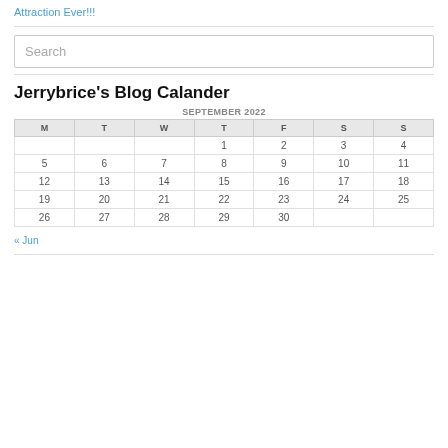Attraction Ever!!!
Search
Jerrybrice's Blog Calander
| M | T | W | T | F | S | S |
| --- | --- | --- | --- | --- | --- | --- |
|  |  |  | 1 | 2 | 3 | 4 |
| 5 | 6 | 7 | 8 | 9 | 10 | 11 |
| 12 | 13 | 14 | 15 | 16 | 17 | 18 |
| 19 | 20 | 21 | 22 | 23 | 24 | 25 |
| 26 | 27 | 28 | 29 | 30 |  |  |
« Jun